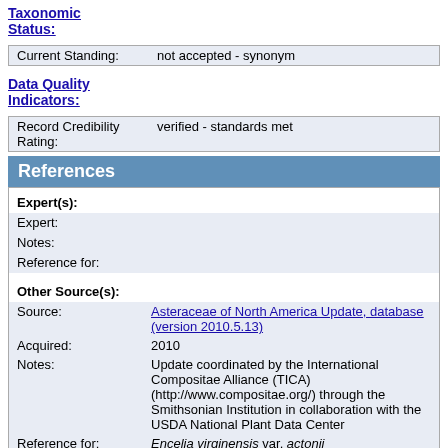Taxonomic Status:
| Field | Value |
| --- | --- |
| Current Standing: | not accepted - synonym |
Data Quality Indicators:
| Field | Value |
| --- | --- |
| Record Credibility Rating: | verified - standards met |
References
Expert(s):
| Field | Value |
| --- | --- |
| Expert: |  |
| Notes: |  |
| Reference for: |  |
Other Source(s):
| Field | Value |
| --- | --- |
| Source: | Asteraceae of North America Update, database (version 2010.5.13) |
| Acquired: | 2010 |
| Notes: | Update coordinated by the International Compositae Alliance (TICA) (http://www.compositae.org/) through the Smithsonian Institution in collaboration with the USDA National Plant Data Center |
| Reference for: | Encelia virginensis var. actonii |
| Source: | The PLANTS Database, database (version 4.0.4) |
| Acquired: | 1996 |
| Notes: | National Plant Data Center, NRCS, USDA. Baton Rouge, LA 70874-4490 USA. http://plants.usda.gov |